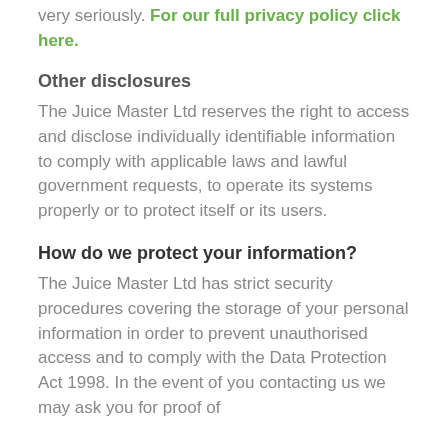very seriously. For our full privacy policy click here.
Other disclosures
The Juice Master Ltd reserves the right to access and disclose individually identifiable information to comply with applicable laws and lawful government requests, to operate its systems properly or to protect itself or its users.
How do we protect your information?
The Juice Master Ltd has strict security procedures covering the storage of your personal information in order to prevent unauthorised access and to comply with the Data Protection Act 1998. In the event of you contacting us we may ask you for proof of